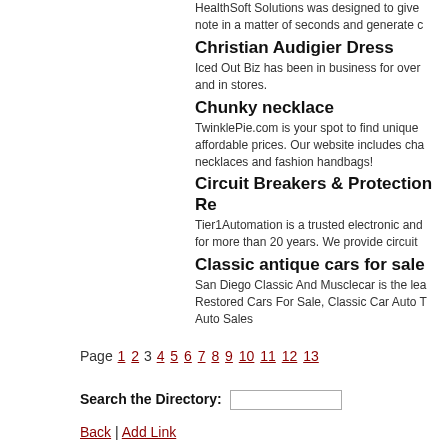HealthSoft Solutions was designed to give note in a matter of seconds and generate c
Christian Audigier Dress
Iced Out Biz has been in business for over and in stores.
Chunky necklace
TwinklePie.com is your spot to find unique affordable prices. Our website includes cha necklaces and fashion handbags!
Circuit Breakers & Protection Re
Tier1Automation is a trusted electronic and for more than 20 years. We provide circuit
Classic antique cars for sale
San Diego Classic And Musclecar is the lea Restored Cars For Sale, Classic Car Auto T Auto Sales
Page 1 2 3 4 5 6 7 8 9 10 11 12 13
Search the Directory:
Back | Add Link